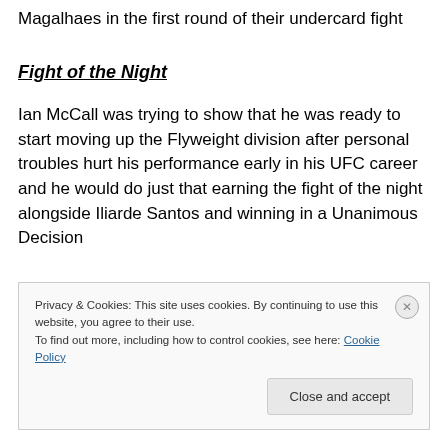Magalhaes in the first round of their undercard fight
Fight of the Night
Ian McCall was trying to show that he was ready to start moving up the Flyweight division after personal troubles hurt his performance early in his UFC career and he would do just that earning the fight of the night alongside Iliarde Santos and winning in a Unanimous Decision
Privacy & Cookies: This site uses cookies. By continuing to use this website, you agree to their use.
To find out more, including how to control cookies, see here: Cookie Policy
Close and accept